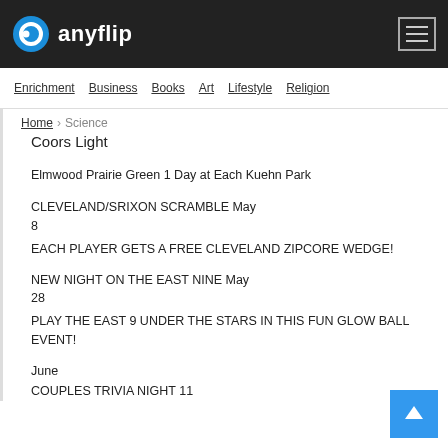anyflip
Enrichment | Business | Books | Art | Lifestyle | Religion
Home > Science
Coors Light
Elmwood Prairie Green 1 Day at Each Kuehn Park
CLEVELAND/SRIXON SCRAMBLE May 8
EACH PLAYER GETS A FREE CLEVELAND ZIPCORE WEDGE!
NEW NIGHT ON THE EAST NINE May 28
PLAY THE EAST 9 UNDER THE STARS IN THIS FUN GLOW BALL EVENT!
June
COUPLES TRIVIA NIGHT 11